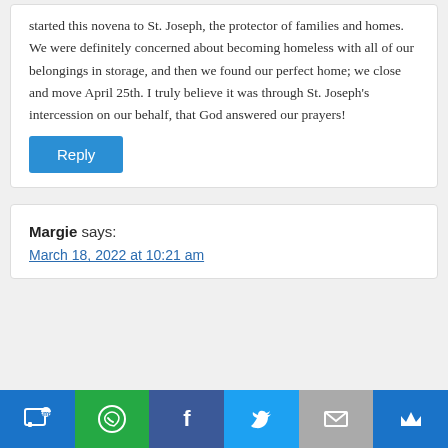started this novena to St. Joseph, the protector of families and homes. We were definitely concerned about becoming homeless with all of our belongings in storage, and then we found our perfect home; we close and move April 25th. I truly believe it was through St. Joseph's intercession on our behalf, that God answered our prayers!
Reply
Margie says:
March 18, 2022 at 10:21 am